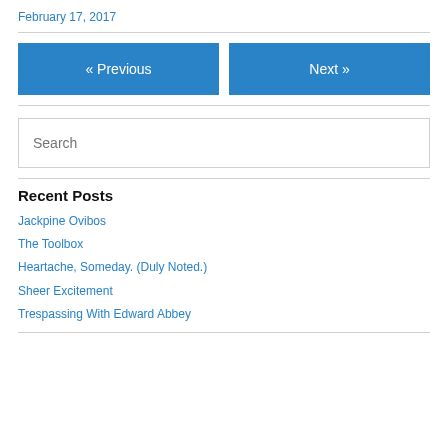February 17, 2017
« Previous
Next »
Search
Recent Posts
Jackpine Ovibos
The Toolbox
Heartache, Someday. (Duly Noted.)
Sheer Excitement
Trespassing With Edward Abbey